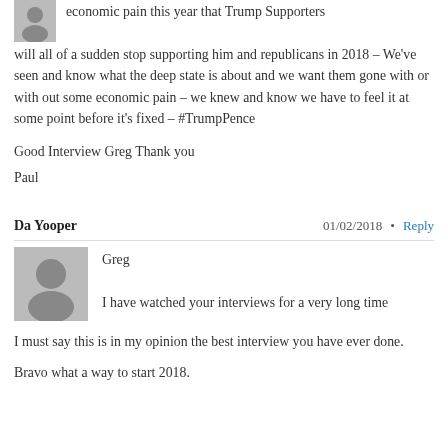economic pain this year that Trump Supporters will all of a sudden stop supporting him and republicans in 2018 – We've seen and know what the deep state is about and we want them gone with or with out some economic pain – we knew and know we have to feel it at some point before it's fixed – #TrumpPence
Good Interview Greg Thank you
Paul
Da Yooper   01/02/2018 • Reply
Greg
I have watched your interviews for a very long time
I must say this is in my opinion the best interview you have ever done.
Bravo what a way to start 2018.